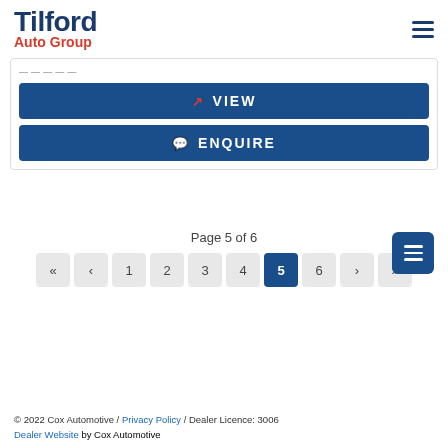[Figure (logo): Tilford Auto Group logo with dark blue 'Tilford' text and red 'Auto Group' text below]
VIEW
ENQUIRE
Page 5 of 6
« < 1 2 3 4 5 6 > »
© 2022 Cox Automotive / Privacy Policy / Dealer Licence: 3006
Dealer Website by Cox Automotive